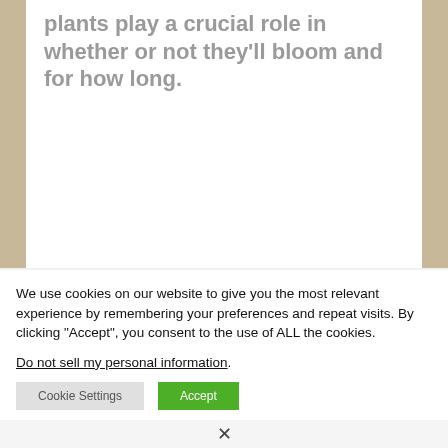plants play a crucial role in whether or not they'll bloom and for how long.
We use cookies on our website to give you the most relevant experience by remembering your preferences and repeat visits. By clicking “Accept”, you consent to the use of ALL the cookies.
Do not sell my personal information.
[Figure (other): Cookie consent buttons: 'Cookie Settings' (grey) and 'Accept' (green)]